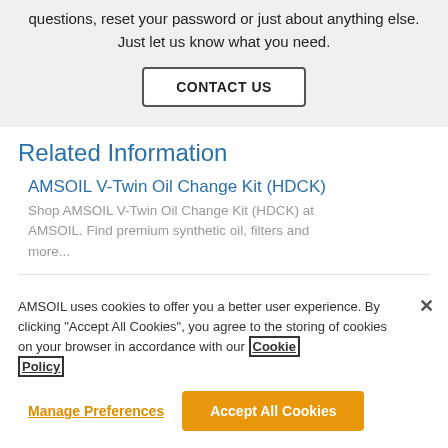questions, reset your password or just about anything else. Just let us know what you need.
CONTACT US
Related Information
AMSOIL V-Twin Oil Change Kit (HDCK)
Shop AMSOIL V-Twin Oil Change Kit (HDCK) at AMSOIL. Find premium synthetic oil, filters and more...
AMSOIL uses cookies to offer you a better user experience. By clicking “Accept All Cookies”, you agree to the storing of cookies on your browser in accordance with our Cookie Policy
Manage Preferences
Accept All Cookies